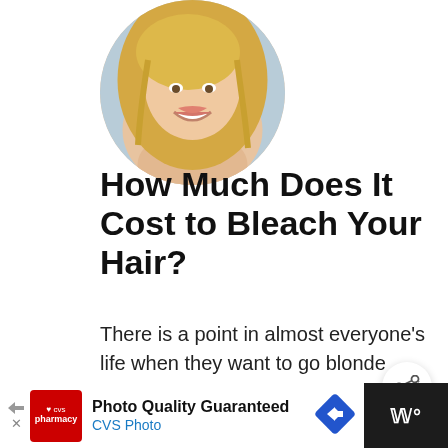[Figure (photo): Circular cropped photo of a smiling blonde woman with long hair, shown from shoulders up against a light background.]
How Much Does It Cost to Bleach Your Hair?
There is a point in almost everyone's life when they want to go blonde from dark brown or jet black. Doing this is only possible …
Read More
[Figure (logo): CVS Pharmacy advertisement banner: red CVS pharmacy logo on left, text 'Photo Quality Guaranteed' and 'CVS Photo' in center, blue diamond navigation arrow icon, dark right panel with white 'W°' text.]